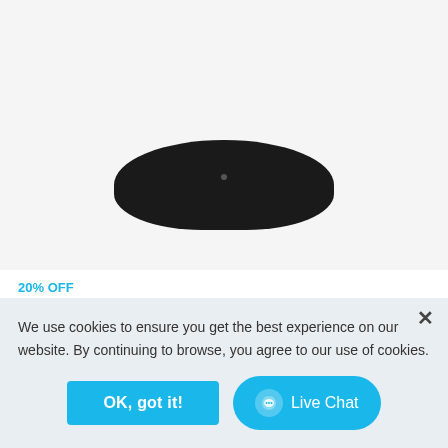[Figure (photo): Bottom portion of black wireless earbud charging case on light gray background]
20% OFF
Life P2
Wireless Earbuds with 4 Microphones, cVc 8.0 Noise Reduction, Graphene Drivers for Clear Sound, USB C, 40H Playtime, IPX7...
★★★★½ (rating) — color swatches: black, white, sage
$45.00 (partially visible price)
We use cookies to ensure you get the best experience on our website. By continuing to browse, you agree to our use of cookies.
OK, got it!
Live Chat